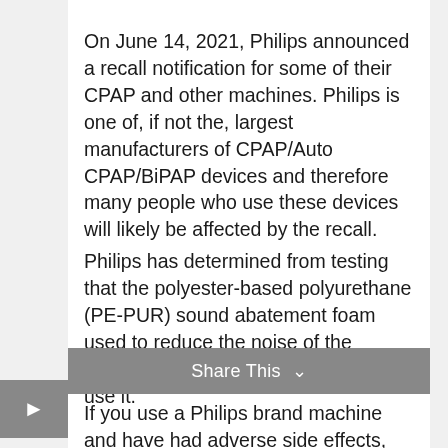On June 14, 2021, Philips announced a recall notification for some of their CPAP and other machines. Philips is one of, if not the, largest manufacturers of CPAP/Auto CPAP/BiPAP devices and therefore many people who use these devices will likely be affected by the recall.
Philips has determined from testing that the polyester-based polyurethane (PE-PUR) sound abatement foam used to reduce the noise of the machine may be harmful to those who use it.
If you use a Philips brand machine and have had adverse side effects, you may be eligible for compensation due to this recall.